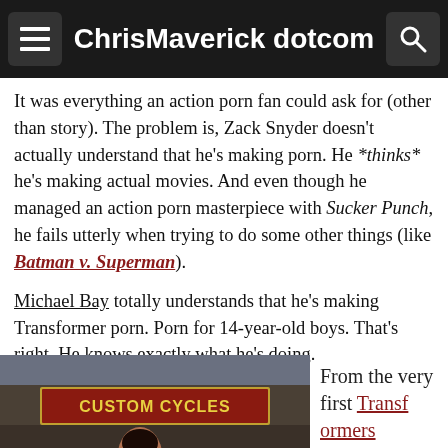ChrisMaverick dotcom
It was everything an action porn fan could ask for (other than story). The problem is, Zack Snyder doesn't actually understand that he's making porn. He *thinks* he's making actual movies. And even though he managed an action porn masterpiece with Sucker Punch, he fails utterly when trying to do some other things (like Batman v. Superman).
Michael Bay totally understands that he's making Transformer porn. Porn for 14-year-old boys. That's right. He knows exactly what he's doing.
[Figure (photo): Photo from Transformers movie showing a woman leaning over a motorcycle at a Custom Cycles shop, with a man in the background]
From the very first Transformers